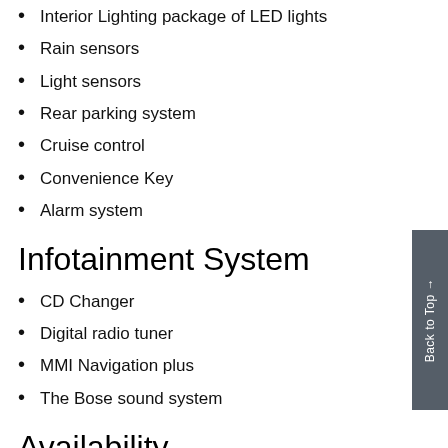Interior Lighting package of LED lights
Rain sensors
Light sensors
Rear parking system
Cruise control
Convenience Key
Alarm system
Infotainment System
CD Changer
Digital radio tuner
MMI Navigation plus
The Bose sound system
Availability
2012 Audi A1 Quattro will be available in 2nd half of this year.